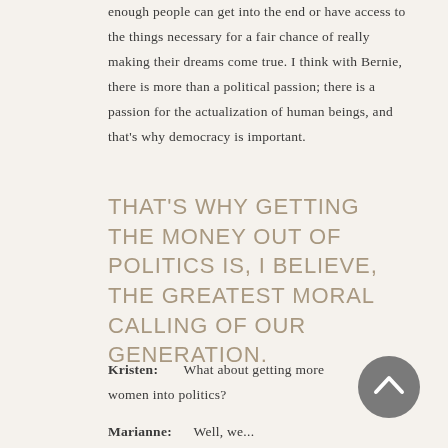enough people can get into the end or have access to the things necessary for a fair chance of really making their dreams come true. I think with Bernie, there is more than a political passion; there is a passion for the actualization of human beings, and that's why democracy is important.
THAT'S WHY GETTING THE MONEY OUT OF POLITICS IS, I BELIEVE, THE GREATEST MORAL CALLING OF OUR GENERATION.
Kristen:    What about getting more women into politics?
Marianne:    Well, we...